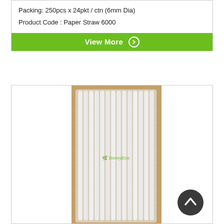Packing: 250pcs x 24pkt / ctn (6mm Dia)
Product Code : Paper Straw 6000
View More ❯
[Figure (photo): A pack of white paper straws bundled together in a clear plastic bag, photographed on a wooden surface. The bag has a green logo watermark.]
[Figure (other): Dark circular button with an upward-pointing arrow icon]